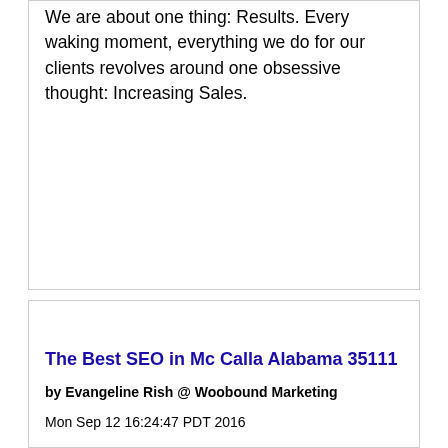We are about one thing: Results. Every waking moment, everything we do for our clients revolves around one obsessive thought: Increasing Sales.
The Best SEO in Mc Calla Alabama 35111
by Evangeline Rish @ Woobound Marketing
Mon Sep 12 16:24:47 PDT 2016